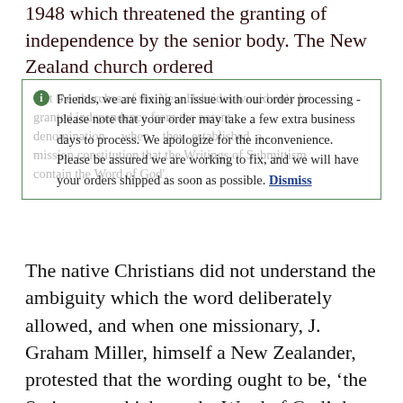1948 which threatened the granting of independence by the senior body. The New Zealand church ordered
Friends, we are fixing an issue with our order processing - please note that your order may take a few extra business days to process. We apologize for the inconvenience. Please be assured we are working to fix, and we will have your orders shipped as soon as possible. Dismiss
The native Christians did not understand the ambiguity which the word deliberately allowed, and when one missionary, J. Graham Miller, himself a New Zealander, protested that the wording ought to be, ‘the Scriptures which are the Word of God’, he was overruled. Miller was a strong, athletic man, but that day for the first and last time in his life, he broke down in public under the stress of the emotion. However, he was a Christian greatly revered by the local believers, and the next year, when he was the first Mo